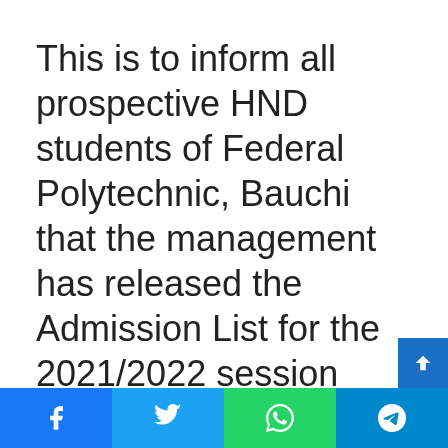This is to inform all prospective HND students of Federal Polytechnic, Bauchi that the management has released the Admission List for the 2021/2022 session